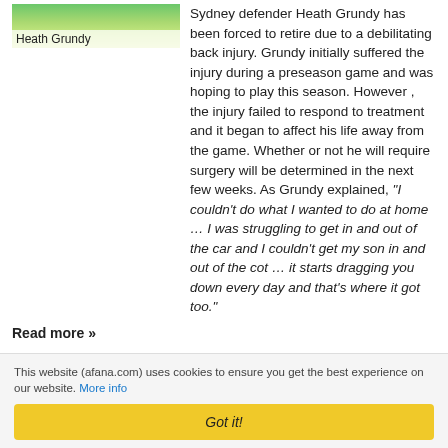[Figure (photo): Photo of Heath Grundy, Sydney AFL player, with green field background and caption 'Heath Grundy']
Sydney defender Heath Grundy has been forced to retire due to a debilitating back injury. Grundy initially suffered the injury during a preseason game and was hoping to play this season. However , the injury failed to respond to treatment and it began to affect his life away from the game. Whether or not he will require surgery will be determined in the next few weeks. As Grundy explained, "I couldn't do what I wanted to do at home … I was struggling to get in and out of the car and I couldn't get my son in and out of the cot … it starts dragging you down every day and that's where it got too."
Read more »
AFANA AFL Power Poll - Round Seven
This website (afana.com) uses cookies to ensure you get the best experience on our website. More info
Got it!